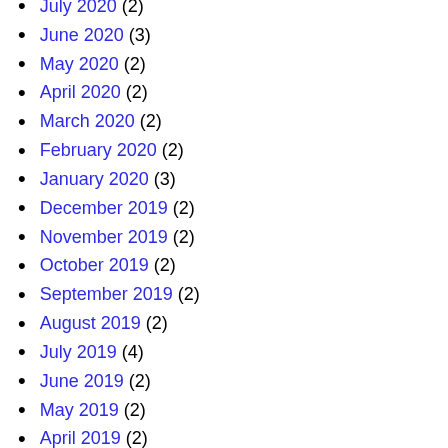July 2020 (2)
June 2020 (3)
May 2020 (2)
April 2020 (2)
March 2020 (2)
February 2020 (2)
January 2020 (3)
December 2019 (2)
November 2019 (2)
October 2019 (2)
September 2019 (2)
August 2019 (2)
July 2019 (4)
June 2019 (2)
May 2019 (2)
April 2019 (2)
March 2019 (...)